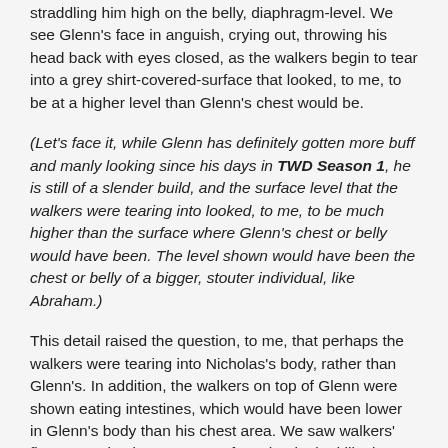straddling him high on the belly, diaphragm-level. We see Glenn's face in anguish, crying out, throwing his head back with eyes closed, as the walkers begin to tear into a grey shirt-covered-surface that looked, to me, to be at a higher level than Glenn's chest would be.
(Let's face it, while Glenn has definitely gotten more buff and manly looking since his days in TWD Season 1, he is still of a slender build, and the surface level that the walkers were tearing into looked, to me, to be much higher than the surface where Glenn's chest or belly would have been. The level shown would have been the chest or belly of a bigger, stouter individual, like Abraham.)
This detail raised the question, to me, that perhaps the walkers were tearing into Nicholas's body, rather than Glenn's. In addition, the walkers on top of Glenn were shown eating intestines, which would have been lower in Glenn's body than his chest area. We saw walkers' fingers tearing into a grey surface that looked like it could be Glenn's t-shirt at his chest-level, but it looked like the